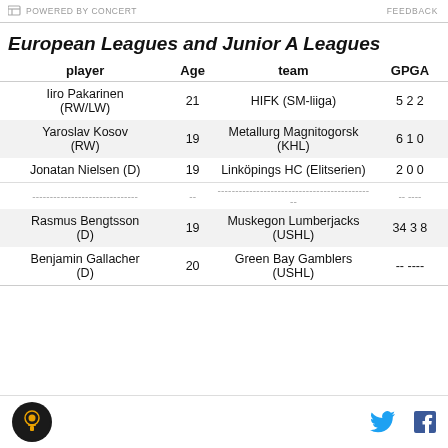POWERED BY CONCERT   FEEDBACK
European Leagues and Junior A Leagues
| player | Age | team | GP | G | A |
| --- | --- | --- | --- | --- | --- |
| Iiro Pakarinen (RW/LW) | 21 | HIFK (SM-liiga) | 5 | 2 | 2 |
| Yaroslav Kosov (RW) | 19 | Metallurg Magnitogorsk (KHL) | 6 | 1 | 0 |
| Jonatan Nielsen (D) | 19 | Linköpings HC (Elitserien) | 2 | 0 | 0 |
| ---separator--- | -- | ---separator--- | -- | ---- |  |
| Rasmus Bengtsson (D) | 19 | Muskegon Lumberjacks (USHL) | 34 | 3 | 8 |
| Benjamin Gallacher (D) | 20 | Green Bay Gamblers (USHL) | -- | ---- |  |
Logo | Twitter | Facebook